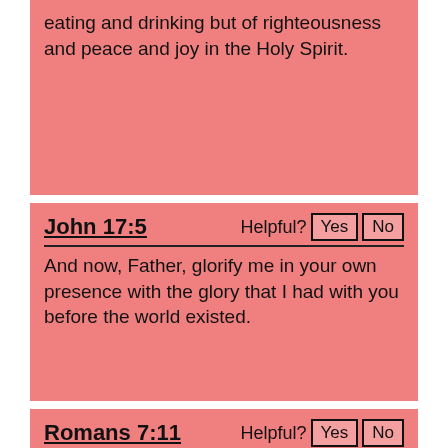eating and drinking but of righteousness and peace and joy in the Holy Spirit.
John 17:5
And now, Father, glorify me in your own presence with the glory that I had with you before the world existed.
Romans 7:11
For sin, seizing an opportunity through the commandment, deceived me and through